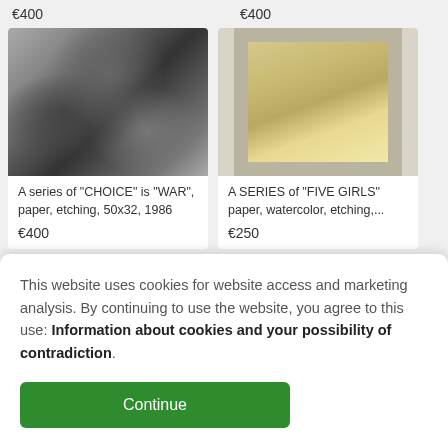€400
€400
[Figure (photo): Black and white etching artwork showing a dramatic battle or conflict scene]
[Figure (photo): Colorful framed painting with ornate border showing figures in traditional dress]
A series of "CHOICE" is "WAR", paper, etching, 50x32, 1986
A SERIES of "FIVE GIRLS" paper, watercolor, etching,...
€400
€250
This website uses cookies for website access and marketing analysis. By continuing to use the website, you agree to this use: Information about cookies and your possibility of contradiction.
Continue